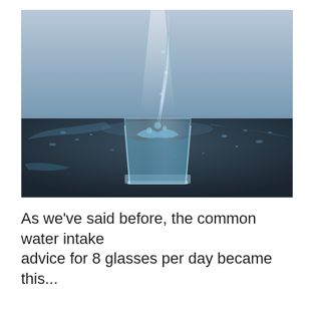[Figure (photo): A glass of water being filled with a stream of water pouring in from above. Water splashes inside the glass and spills onto a dark reflective surface. Water droplets are scattered around the glass. The background is a soft blue-grey gradient, lit from above.]
As we've said before, the common water intake
advice for 8 glasses per day became this...